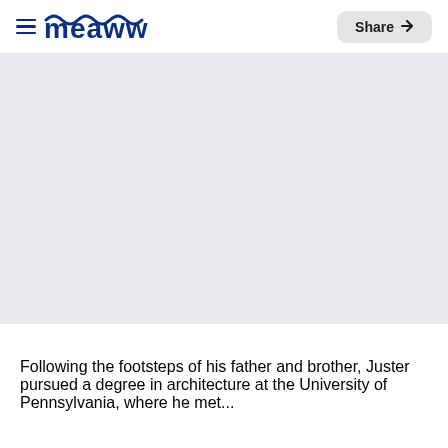meaww — Share
[Figure (photo): Large image placeholder area with light gray background]
Following the footsteps of his father and brother, Juster pursued a degree in architecture at the University of Pennsylvania, where he met...